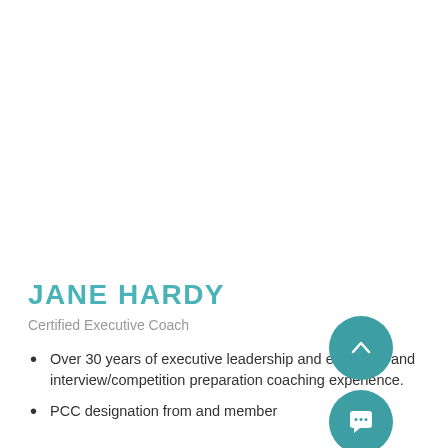[Figure (illustration): Decorative teal/cyan repeating pattern of small arrow/chevron and dot shapes on the right side of the page]
JANE HARDY
Certified Executive Coach
Over 30 years of executive leadership and executive and interview/competition preparation coaching experience.
PCC designation from and member